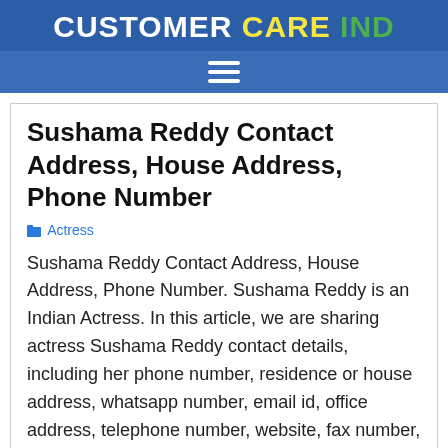CUSTOMER CARE IND
Sushama Reddy Contact Address, House Address, Phone Number
Actress
Sushama Reddy Contact Address, House Address, Phone Number. Sushama Reddy is an Indian Actress. In this article, we are sharing actress Sushama Reddy contact details, including her phone number, residence or house address, whatsapp number, email id, office address, telephone number, website, fax number, social media profiles etc.
On the web, people are searching for these queries such as, how to contact Sushama Reddy, what is the phone number of Sushama Reddy, what is the email id of Sushama Reddy, what is the residence address of Sushama Reddy, what is the